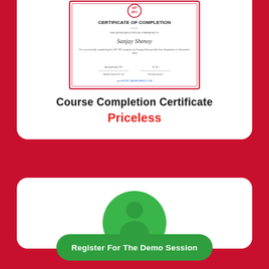[Figure (illustration): Certificate of Completion document thumbnail showing Sanjay Shenoy's certificate with HIT SFC program details]
Course Completion Certificate
Priceless
[Figure (illustration): Green circular icon or avatar partially visible at bottom of white card]
Register For The Demo Session